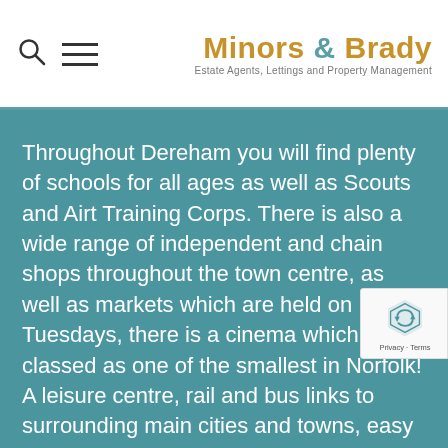Minors & Brady — Estate Agents, Lettings and Property Management
Throughout Dereham you will find plenty of schools for all ages as well as Scouts and Airt Training Corps. There is also a wide range of independent and chain shops throughout the town centre, as well as markets which are held on Tuesdays, there is a cinema which is classed as one of the smallest in Norfolk! A leisure centre, rail and bus links to surrounding main cities and towns, easy access to the A47 leading further to the A11 & M25, restaurant,